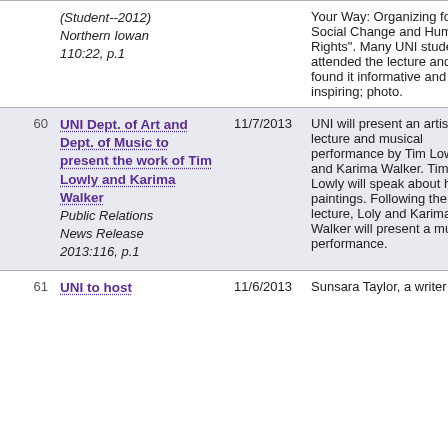| # | Title/Source | Date | Description |
| --- | --- | --- | --- |
|  | (Student--2012)
Northern Iowan
110:22, p.1 |  | Your Way: Organizing for Social Change and Human Rights". Many UNI students attended the lecture and found it informative and inspiring; photo. |
| 60 | UNI Dept. of Art and Dept. of Music to present the work of Tim Lowly and Karima Walker
Public Relations News Release 2013:116, p.1 | 11/7/2013 | UNI will present an artist lecture and musical performance by Tim Lowly and Karima Walker. Tim Lowly will speak about his paintings. Following the lecture, Loly and Karima Walker will present a musical performance. |
| 61 | UNI to host | 11/6/2013 | Sunsara Taylor, a writer and |